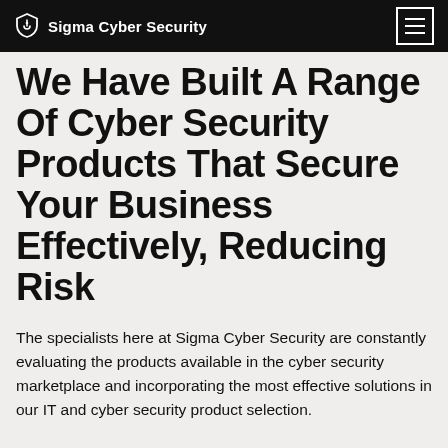Sigma Cyber Security
We Have Built A Range Of Cyber Security Products That Secure Your Business Effectively, Reducing Risk
The specialists here at Sigma Cyber Security are constantly evaluating the products available in the cyber security marketplace and incorporating the most effective solutions in our IT and cyber security product selection.